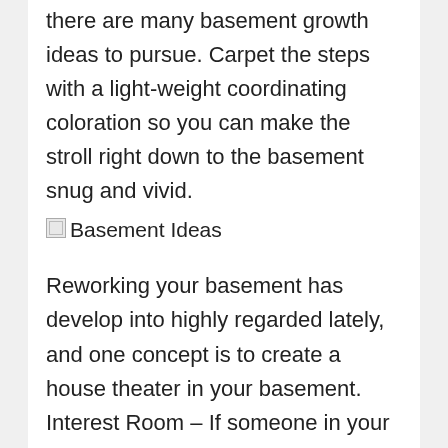there are many basement growth ideas to pursue. Carpet the steps with a light-weight coordinating coloration so you can make the stroll right down to the basement snug and vivid.
[Figure (illustration): Broken image placeholder with alt text 'Basement Ideas']
Reworking your basement has develop into highly regarded lately, and one concept is to create a house theater in your basement. Interest Room – If someone in your loved ones is interested by toy trains, the basement offers a superb place to create their very personal railroad line.
Brilliant colours like white and even cream shade is okay to place on the walls. Learn on for some residence bar design ideas. To loosen up the dull space, paint the partitions with vivid coloration hues